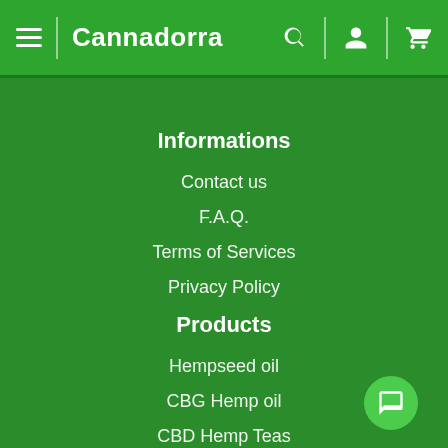Cannadorra
Informations
Contact us
F.A.Q.
Terms of Services
Privacy Policy
Products
Hempseed oil
CBG Hemp oil
CBD Hemp Teas